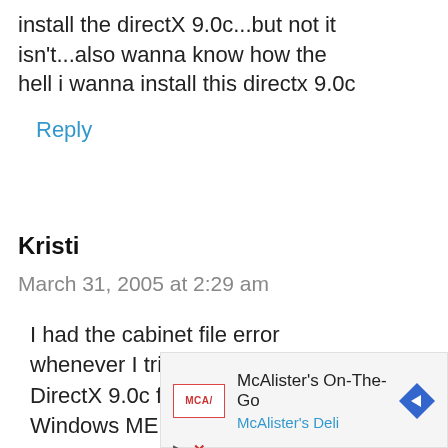install the directX 9.0c...but not it isn't...also wanna know how the hell i wanna install this directx 9.0c
Reply
Kristi
March 31, 2005 at 2:29 am
I had the cabinet file error whenever I tried to download DirectX 9.0c from microsoft. I have Windows ME and I didn't Windo...
[Figure (other): Advertisement overlay for McAlister's On-The-Go / McAlister's Deli with logo, blue arrow navigation icon, and close/play controls]